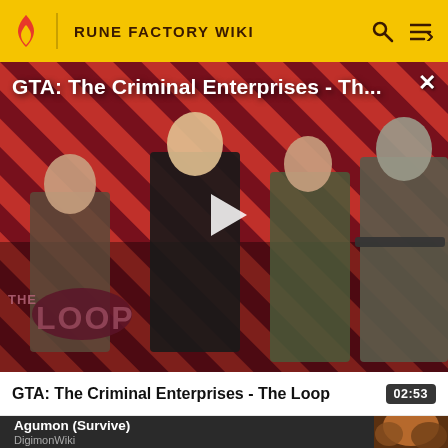RUNE FACTORY WIKI
[Figure (screenshot): Video thumbnail for GTA: The Criminal Enterprises - The Loop. Shows four game characters standing in front of a red and dark diagonal striped background. A play button is visible in the center. 'THE LOOP' text watermark is in the lower left.]
GTA: The Criminal Enterprises - Th...
GTA: The Criminal Enterprises - The Loop  02:53
Agumon (Survive)
DigimonWiki